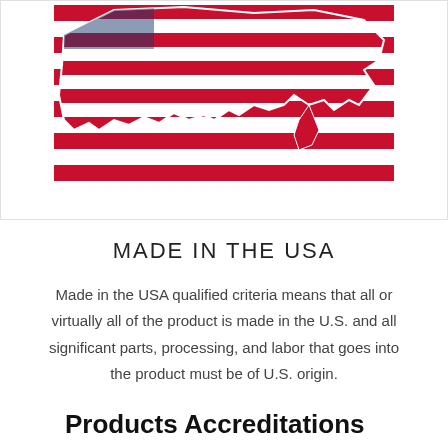[Figure (illustration): USA map silhouette filled with red and white horizontal stripes (American flag pattern), partially cropped at top]
MADE IN THE USA
Made in the USA qualified criteria means that all or virtually all of the product is made in the U.S. and all significant parts, processing, and labor that goes into the product must be of U.S. origin.
Products Accreditations
[Figure (other): Partial view of a certification/accreditation logo box with a blue horizontal bar visible at bottom, content cut off]